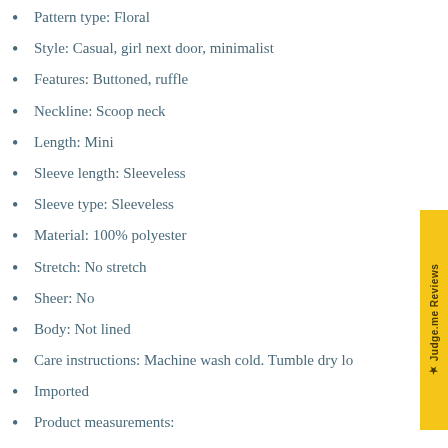Pattern type: Floral
Style: Casual, girl next door, minimalist
Features: Buttoned, ruffle
Neckline: Scoop neck
Length: Mini
Sleeve length: Sleeveless
Sleeve type: Sleeveless
Material: 100% polyester
Stretch: No stretch
Sheer: No
Body: Not lined
Care instructions: Machine wash cold. Tumble dry lo
Imported
Product measurements:
S: bust 19 in, waist 29 in, back length 26 in, hem width 80 in